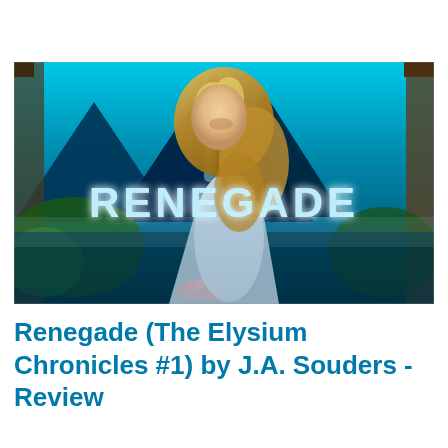[Figure (illustration): Book cover for 'Renegade' (The Elysium Chronicles #1) by J.A. Souders. Shows a young blonde woman in a light blue/silver gown holding red roses, standing in front of a dramatic blue fantasy landscape with mountains, waterfalls, and towers. The title 'RENEGADE' is displayed in large white glowing letters across the middle of the cover.]
Renegade (The Elysium Chronicles #1) by J.A. Souders - Review